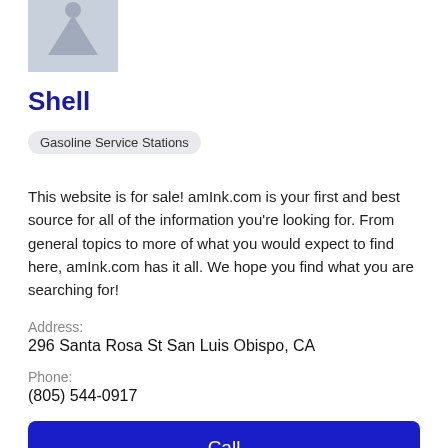[Figure (illustration): Grey placeholder image with person silhouette icon at top]
Shell
Gasoline Service Stations
This website is for sale! amInk.com is your first and best source for all of the information you're looking for. From general topics to more of what you would expect to find here, amInk.com has it all. We hope you find what you are searching for!
Address:
296 Santa Rosa St San Luis Obispo, CA
Phone:
(805) 544-0917
Call
View Profile
[Figure (photo): Thumbnail photo of a gas station exterior with vehicles]